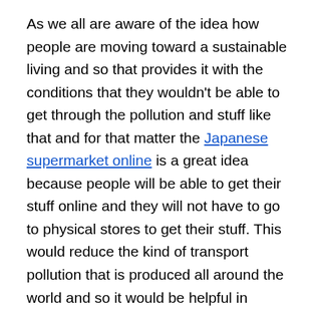As we all are aware of the idea how people are moving toward a sustainable living and so that provides it with the conditions that they wouldn't be able to get through the pollution and stuff like that and for that matter the Japanese supermarket online is a great idea because people will be able to get their stuff online and they will not have to go to physical stores to get their stuff. This would reduce the kind of transport pollution that is produced all around the world and so it would be helpful in making sure that our sustainable environment is created in Waitrose. It is very important that people understand that they would not be scammed and they need to trust online stuff because e-commerce is the future of the world now because people would be able to get a lot of popularity and ranking among different kind of online stores as well and so Japanese supermarket online is something that would be accessible to all the people and they will not have to worry